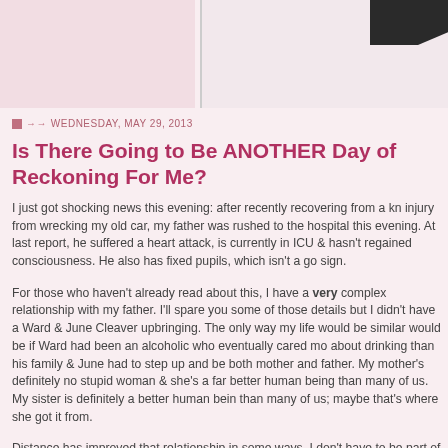[Figure (other): Blog page top banner with pink/rose background on left portion and lighter area on right with a dark angled shape in the upper right corner]
WEDNESDAY, MAY 29, 2013
Is There Going to Be ANOTHER Day of Reckoning For Me?
I just got shocking news this evening: after recently recovering from a knee injury from wrecking my old car, my father was rushed to the hospital this evening. At last report, he suffered a heart attack, is currently in ICU & hasn't regained consciousness. He also has fixed pupils, which isn't a good sign.
For those who haven't already read about this, I have a very complex relationship with my father. I'll spare you some of those details but I didn't have a Ward & June Cleaver upbringing. The only way my life would be similar would be if Ward had been an alcoholic who eventually cared more about drinking than his family & June had to step up and be both mother and father. My mother's definitely no stupid woman & she's a far better human being than many of us. My sister is definitely a better human being than many of us; maybe that's where she got it from.
Distance has improved that relationship in some ways. I don't have to be part of that drama or deal with him getting drunk & showing his ass. My mother would say he's mellowed in his old age & they've been through a bunch of shit but if it were me, I'd have left so many years ago. Remember, I'm the one who told my mother she should get a divorce when I was 7.